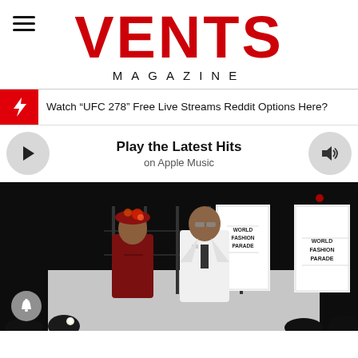VENTS MAGAZINE
Watch “UFC 278” Free Live Streams Reddit Options Here?
Play the Latest Hits on Apple Music
[Figure (photo): Fashion runway photo showing two models at World Fashion Parade event. A woman in a dark red outfit with floral headpiece on the left, and a man in a white suit with sunglasses on the right. Two tall banners reading 'World Fashion Parade' are visible in the background.]